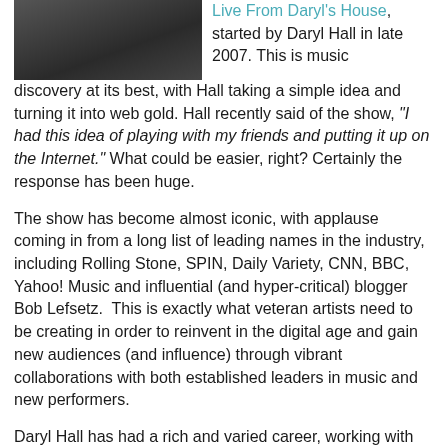[Figure (photo): Photo of a person (Daryl Hall) in dark jacket, partial view at top left]
Live From Daryl's House, started by Daryl Hall in late 2007. This is music discovery at its best, with Hall taking a simple idea and turning it into web gold. Hall recently said of the show, "I had this idea of playing with my friends and putting it up on the Internet." What could be easier, right? Certainly the response has been huge.
The show has become almost iconic, with applause coming in from a long list of leading names in the industry, including Rolling Stone, SPIN, Daily Variety, CNN, BBC, Yahoo! Music and influential (and hyper-critical) blogger Bob Lefsetz. This is exactly what veteran artists need to be creating in order to reinvent in the digital age and gain new audiences (and influence) through vibrant collaborations with both established leaders in music and new performers.
Daryl Hall has had a rich and varied career, working with virtually all of the great musicians of modern popular music, as well as entering into new relationships with the best of the latest generation of artists. So far, episodes have featured superstars like Smokey Robinson, Rob Thomas (of Matchbox 20), Robby Krieger and Ray Manzarek (The